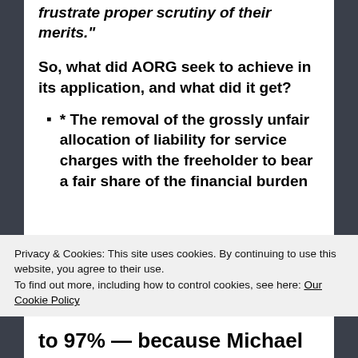frustrate proper scrutiny of their merits."
So, what did AORG seek to achieve in its application, and what did it get?
* The removal of the grossly unfair allocation of liability for service charges with the freeholder to bear a fair share of the financial burden
Privacy & Cookies: This site uses cookies. By continuing to use this website, you agree to their use.
To find out more, including how to control cookies, see here: Our Cookie Policy
to 97% — because Michael